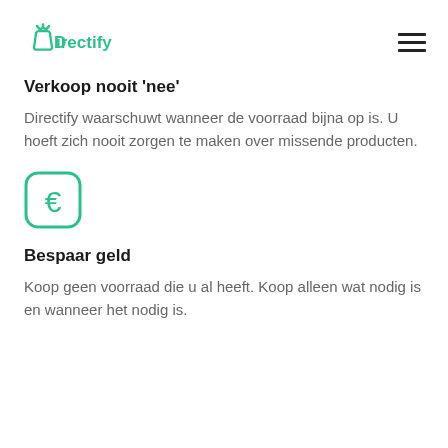Directify
Verkoop nooit 'nee'
Directify waarschuwt wanneer de voorraad bijna op is. U hoeft zich nooit zorgen te maken over missende producten.
[Figure (illustration): Euro sign icon in a rounded square with teal/green border and teal euro symbol]
Bespaar geld
Koop geen voorraad die u al heeft. Koop alleen wat nodig is en wanneer het nodig is.